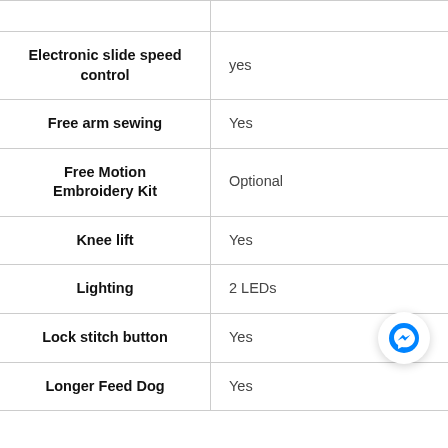| Feature | Value |
| --- | --- |
| Electronic slide speed control | yes |
| Free arm sewing | Yes |
| Free Motion Embroidery Kit | Optional |
| Knee lift | Yes |
| Lighting | 2 LEDs |
| Lock stitch button | Yes |
| Longer Feed Dog | Yes |